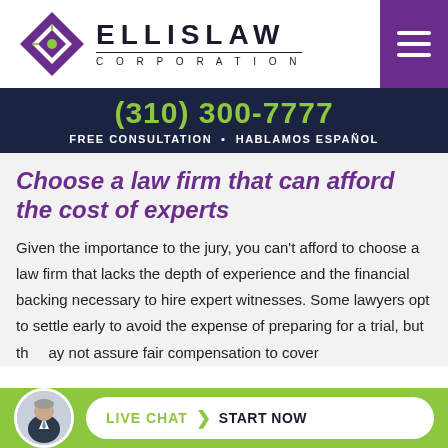[Figure (logo): Ellis Law Corporation logo with purple diamond geometric icon and bold text ELLISLAW with CORPORATION subtitle]
(310) 300-7777
FREE CONSULTATION · HABLAMOS ESPAÑOL
Choose a law firm that can afford the cost of experts
Given the importance to the jury, you can't afford to choose a law firm that lacks the depth of experience and the financial backing necessary to hire expert witnesses. Some lawyers opt to settle early to avoid the expense of preparing for a trial, but they may not assure fair compensation to cover
[Figure (photo): Live Chat button with man in suit avatar photo, LIVE CHAT text in green and START NOW in black on white pill-shaped button on green bar]